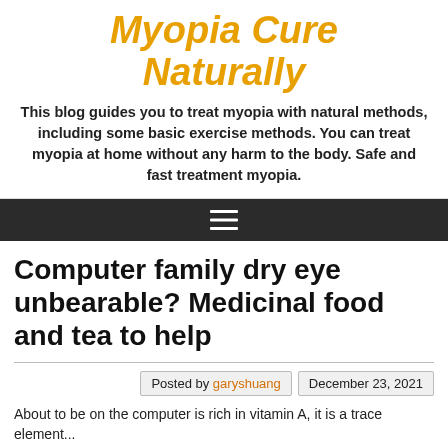Myopia Cure Naturally
This blog guides you to treat myopia with natural methods, including some basic exercise methods. You can treat myopia at home without any harm to the body. Safe and fast treatment myopia.
[Figure (other): Navigation hamburger menu icon on dark background]
Computer family dry eye unbearable? Medicinal food and tea to help
Posted by garyshuang   December 23, 2021
About to be on the computer is rich in vitamin A, it is a trace element...